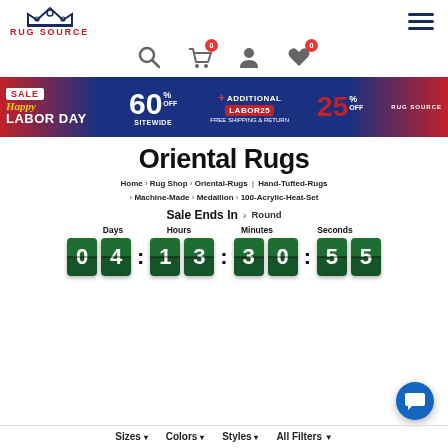RUG SOURCE - navigation header with logo, hamburger menu, search, cart (0), account, wishlist (0) icons
[Figure (infographic): Happy Labor Day Sale banner: 60% off sitewide + additional 25% off with code LABOR25, free shipping & return]
Oriental Rugs
Home > Rug Shop > Oriental-Rugs | Hand-Tufted-Rugs > Machine-Made > Medallion > 100-Acrylic-Heat-Set
Sale Ends In > Round
Days  Hours  Minutes  Seconds  04 : 13 : 30 : 55
Sizes  Colors  Styles  All Filters